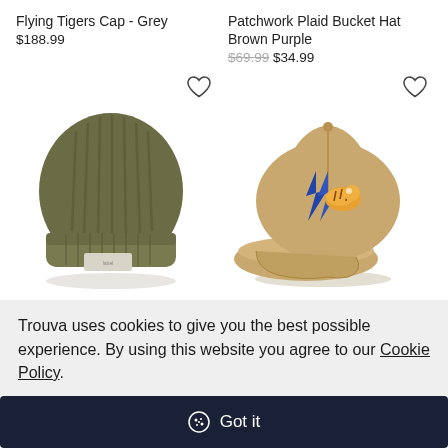Flying Tigers Cap - Grey
$188.99
[Figure (photo): Olive green knit beanie hat with ribbed texture and folded cuff, small label visible at the back]
Patchwork Plaid Bucket Hat Brown Purple
$69.99 $34.99
[Figure (photo): Khaki/tan baseball cap with embroidered flying tiger and blue lightning bolt patch on the front]
Trouva uses cookies to give you the best possible experience. By using this website you agree to our Cookie Policy.
Got it